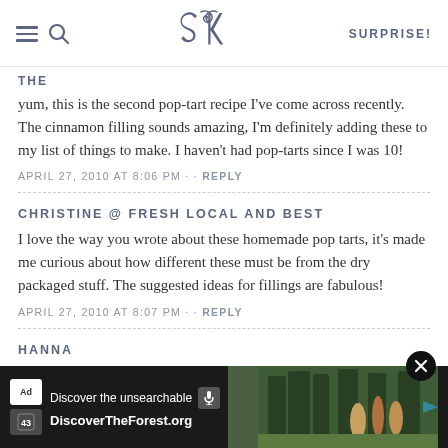SK SURPRISE!
THE
yum, this is the second pop-tart recipe I've come across recently. The cinnamon filling sounds amazing, I'm definitely adding these to my list of things to make. I haven't had pop-tarts since I was 10!
APRIL 27, 2010 AT 8:06 PM · · REPLY
CHRISTINE @ FRESH LOCAL AND BEST
I love the way you wrote about these homemade pop tarts, it's made me curious about how different these must be from the dry packaged stuff. The suggested ideas for fillings are fabulous!
APRIL 27, 2010 AT 8:07 PM · · REPLY
HANNA
[Figure (screenshot): Advertisement banner: 'Discover the unsearchable' with DiscoverTheForest.org branding and image of people in forest]